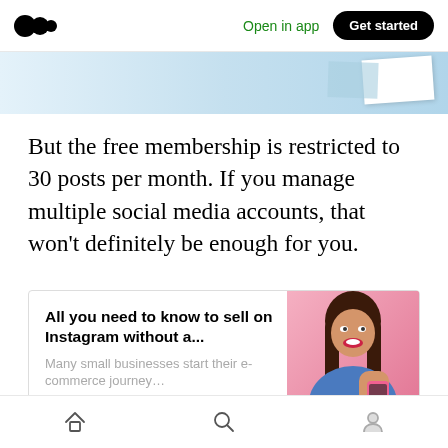Open in app | Get started
[Figure (screenshot): Partial hero image banner strip at top of article page]
But the free membership is restricted to 30 posts per month. If you manage multiple social media accounts, that won't definitely be enough for you.
[Figure (infographic): Article preview card with title 'All you need to know to sell on Instagram without a...', description 'Many small businesses start their e-commerce journey...', source 'circleboom.medium.com', and thumbnail image of a woman in blue holding a pink phone against a pink background]
Home | Search | Profile